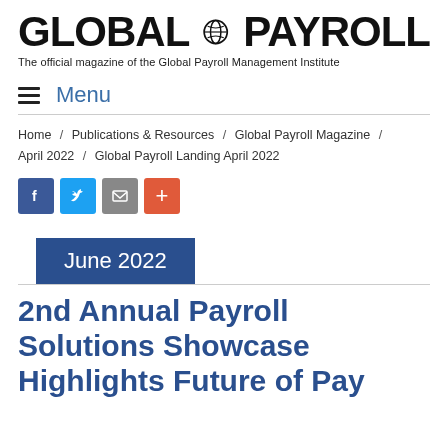GLOBAL PAYROLL — The official magazine of the Global Payroll Management Institute
≡ Menu
Home / Publications & Resources / Global Payroll Magazine / April 2022 / Global Payroll Landing April 2022
[Figure (infographic): Social sharing buttons: Facebook (blue), Twitter (blue), Email (grey), Plus (orange-red)]
June 2022
2nd Annual Payroll Solutions Showcase Highlights Future of Pay